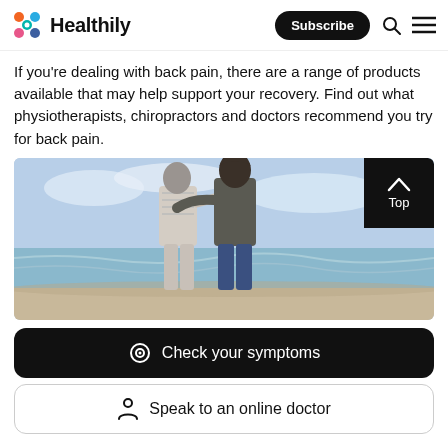Healthily — Subscribe
If you're dealing with back pain, there are a range of products available that may help support your recovery. Find out what physiotherapists, chiropractors and doctors recommend you try for back pain.
[Figure (photo): Two women, one older with grey short hair and one younger with dark hair, seen from behind walking on a beach with arms around each other]
Check your symptoms
Speak to an online doctor